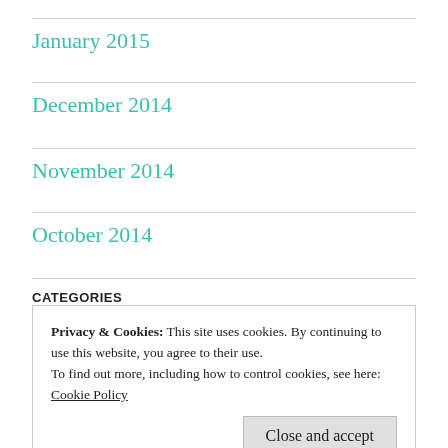January 2015
December 2014
November 2014
October 2014
CATEGORIES
Privacy & Cookies: This site uses cookies. By continuing to use this website, you agree to their use.
To find out more, including how to control cookies, see here:
Cookie Policy
Close and accept